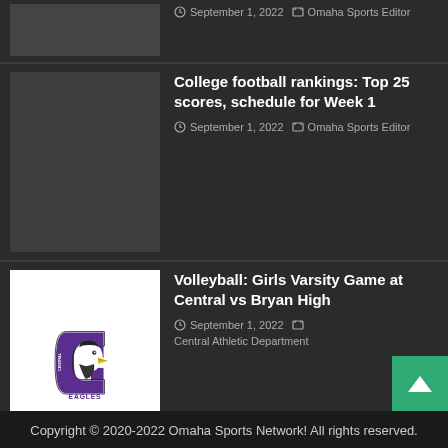[Figure (photo): Dark grey placeholder thumbnail image]
September 1, 2022  Omaha Sports Editor
[Figure (photo): Dark grey placeholder thumbnail image]
College football rankings: Top 25 scores, schedule for Week 1
September 1, 2022  Omaha Sports Editor
[Figure (photo): Central Eagles logo — bald eagle with purple C and EAGLES text]
Volleyball: Girls Varsity Game at Central vs Bryan High
September 1, 2022  Central Athletic Department
[Figure (other): Social media icons row: YouTube, Facebook, Twitter, Instagram]
Copyright © 2020-2022 Omaha Sports Network! All rights reserved.